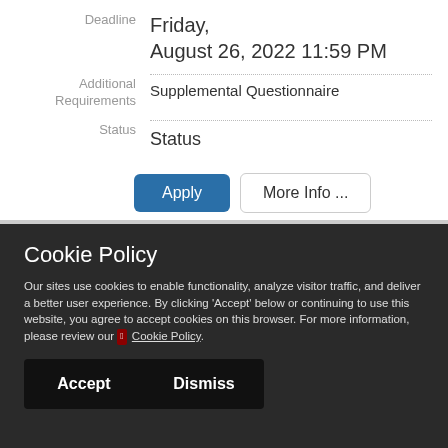| Field | Value |
| --- | --- |
| Deadline | Friday,
August 26, 2022 11:59 PM |
| Additional Requirements | Supplemental Questionnaire |
| Status | Status |
Apply | More Info ...
Cookie Policy
Our sites use cookies to enable functionality, analyze visitor traffic, and deliver a better user experience. By clicking 'Accept' below or continuing to use this website, you agree to accept cookies on this browser. For more information, please review our Cookie Policy.
Accept   Dismiss